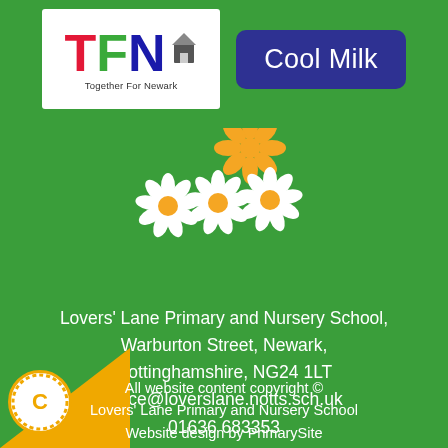[Figure (logo): TFN Together For Newark logo - white background with red T, green F, blue N and a small house/building icon]
[Figure (logo): Cool Milk button - dark blue rounded rectangle with white text 'Cool Milk']
[Figure (illustration): Three daisy flowers - two white daisies and one yellow/orange daisy on green background]
Lovers' Lane Primary and Nursery School,
Warburton Street, Newark,
Nottinghamshire, NG24 1LT
office@loverslane.notts.sch.uk
01636 683353
Sitemap
Cookie Information
Website Policy
All website content copyright ©
Lovers' Lane Primary and Nursery School
Website design by PrimarySite